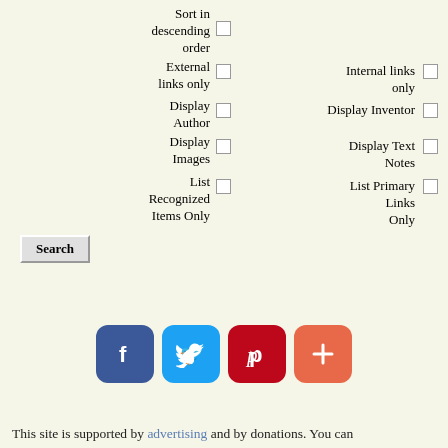Sort in descending order
External links only
Internal links only
Display Author
Display Inventor
Display Images
Display Text Notes
List Recognized Items Only
List Primary Links Only
Search
[Figure (infographic): Social media sharing buttons: Facebook (blue), Twitter (light blue), Pinterest (red), and a plus/more button (coral/orange)]
This site is supported by advertising and by donations. You can